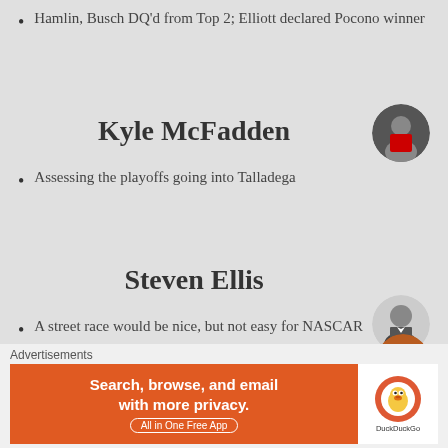Hamlin, Busch DQ'd from Top 2; Elliott declared Pocono winner
[Figure (photo): Circular avatar photo of Kyle McFadden, person standing at podium]
Kyle McFadden
Assessing the playoffs going into Talladega
[Figure (photo): Circular avatar photo of Steven Ellis, man in suit]
Steven Ellis
A street race would be nice, but not easy for NASCAR
[Figure (photo): Circular avatar photo partially visible at bottom right]
Advertisements
[Figure (screenshot): DuckDuckGo advertisement banner: Search, browse, and email with more privacy. All in One Free App. DuckDuckGo logo on orange background.]